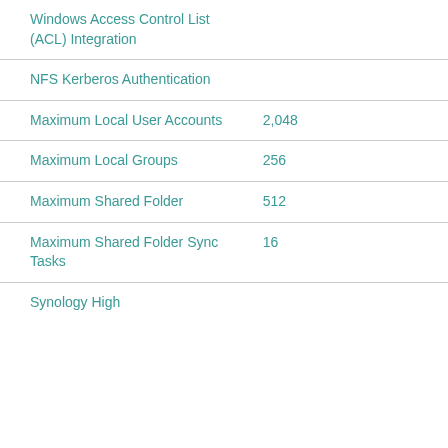| Feature | Value |
| --- | --- |
| Windows Access Control List (ACL) Integration |  |
| NFS Kerberos Authentication |  |
| Maximum Local User Accounts | 2,048 |
| Maximum Local Groups | 256 |
| Maximum Shared Folder | 512 |
| Maximum Shared Folder Sync Tasks | 16 |
| Synology High |  |